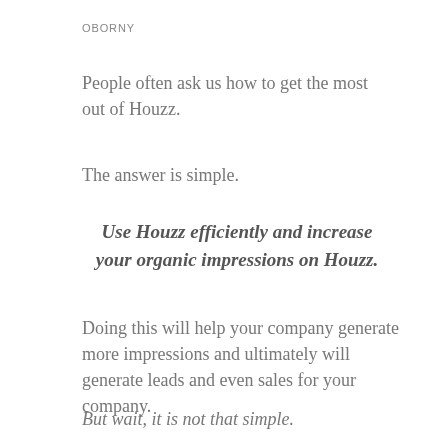OBORNY
People often ask us how to get the most out of Houzz.
The answer is simple.
Use Houzz efficiently and increase your organic impressions on Houzz.
Doing this will help your company generate more impressions and ultimately will generate leads and even sales for your company.
But wait, it is not that simple.
What we have found is that most